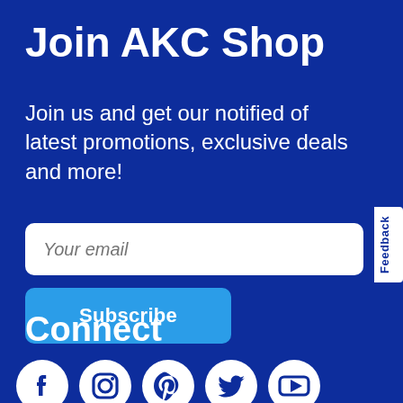Join AKC Shop
Join us and get our notified of latest promotions, exclusive deals and more!
[Figure (other): Email input field with placeholder text 'Your email' and a blue Subscribe button below it]
Connect
[Figure (other): Five social media icons in white on dark blue background: Facebook, Instagram, Pinterest, Twitter, YouTube]